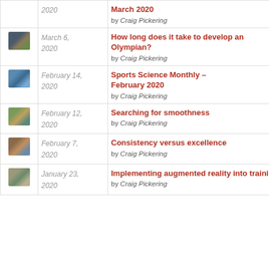| Thumbnail | Date | Article |
| --- | --- | --- |
| [image] | 2020 | Sports Science Monthly – March 2020
by Craig Pickering |
| [image] | March 6, 2020 | How long does it take to develop an Olympian?
by Craig Pickering |
| [image] | February 14, 2020 | Sports Science Monthly – February 2020
by Craig Pickering |
| [image] | February 12, 2020 | Searching for smoothness
by Craig Pickering |
| [image] | February 7, 2020 | Consistency versus excellence
by Craig Pickering |
| [image] | January 23, 2020 | Implementing augmented reality into training
by Craig Pickering |